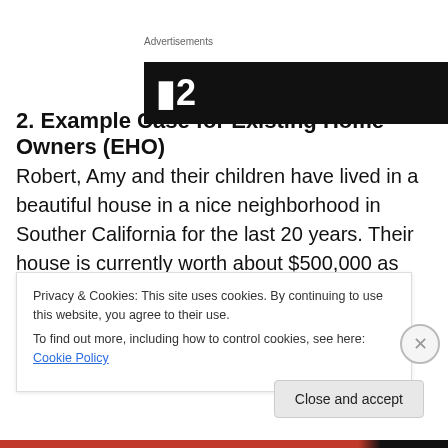[Figure (other): Advertisement banner with black background and partial text/logo visible]
2. Example Case for Existing Home Owners (EHO)
Robert, Amy and their children have lived in a beautiful house in a nice neighborhood in Souther California for the last 20 years. Their house is currently worth about $500,000 as determined in a BPO analysis conducted by
Privacy & Cookies: This site uses cookies. By continuing to use this website, you agree to their use.
To find out more, including how to control cookies, see here: Cookie Policy